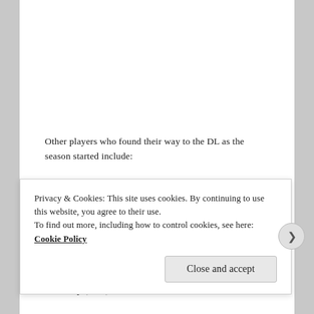Other players who found their way to the DL as the season started include:
Tim Hudson (back)
Ryan Madson (TJ Surgery)
Carl Crawford (wrist)
Grady Sizemore (back)
A.J. Burnett (eye socket)
Ted Lilly (neck)
Privacy & Cookies: This site uses cookies. By continuing to use this website, you agree to their use.
To find out more, including how to control cookies, see here: Cookie Policy